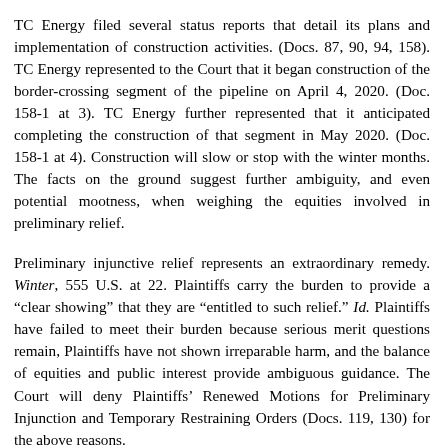TC Energy filed several status reports that detail its plans and implementation of construction activities. (Docs. 87, 90, 94, 158). TC Energy represented to the Court that it began construction of the border-crossing segment of the pipeline on April 4, 2020. (Doc. 158-1 at 3). TC Energy further represented that it anticipated completing the construction of that segment in May 2020. (Doc. 158-1 at 4). Construction will slow or stop with the winter months. The facts on the ground suggest further ambiguity, and even potential mootness, when weighing the equities involved in preliminary relief.
Preliminary injunctive relief represents an extraordinary remedy. Winter, 555 U.S. at 22. Plaintiffs carry the burden to provide a “clear showing” that they are “entitled to such relief.” Id. Plaintiffs have failed to meet their burden because serious merit questions remain, Plaintiffs have not shown irreparable harm, and the balance of equities and public interest provide ambiguous guidance. The Court will deny Plaintiffs’ Renewed Motions for Preliminary Injunction and Temporary Restraining Orders (Docs. 119, 130) for the above reasons.